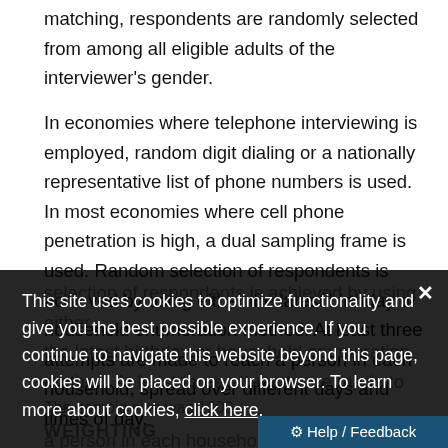matching, respondents are randomly selected from among all eligible adults of the interviewer's gender.
In economies where telephone interviewing is employed, random digit dialing or a nationally representative list of phone numbers is used. In most economies where cell phone penetration is high, a dual sampling frame is used. Random selection of respondents is achieved by using either the latest birthday or household enumeration method. At least three attempts are made to reach a person in each household, spread over different days and times of day.
The sample size was 1000.
WEIGHTING
This site uses cookies to optimize functionality and give you the best possible experience. If you continue to navigate this website beyond this page, cookies will be placed on your browser. To learn more about cookies, click here.